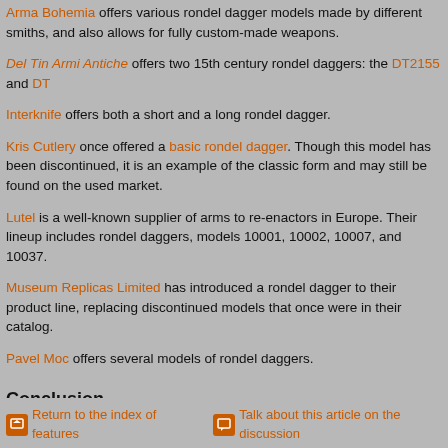Arma Bohemia offers various rondel dagger models made by different smiths, and also allows for fully custom-made weapons.
Del Tin Armi Antiche offers two 15th century rondel daggers: the DT2155 and DT...
Interknife offers both a short and a long rondel dagger.
Kris Cutlery once offered a basic rondel dagger. Though this model has been discontinued, it is an example of the classic form and may still be found on the used market.
Lutel is a well-known supplier of arms to re-enactors in Europe. Their lineup includes rondel daggers, models 10001, 10002, 10007, and 10037.
Museum Replicas Limited has introduced a rondel dagger to their product line, replacing discontinued models that once were in their catalog.
Pavel Moc offers several models of rondel daggers.
Conclusion
Rondel daggers did not simply disappear in the mid-16th century but rather changed to give rise to new dagger types. H. Peterson speculates that some rondel daggers had their guards bent toward the blade in the manner of later Landsknecht daggers. The very thin blade gave rise to the stiletto.
The existence of many reproductions of rondel daggers on the modern market suggests that every student of medieval arms recognizes the weapon's importance. Rondel daggers were not unique to any one century period but they appear to have been very popular. Hopefully, new finds and research will help us further understand and appreciate these remarkably elegant and beautiful wea...
Return to the index of features    Talk about this article on the discussion...